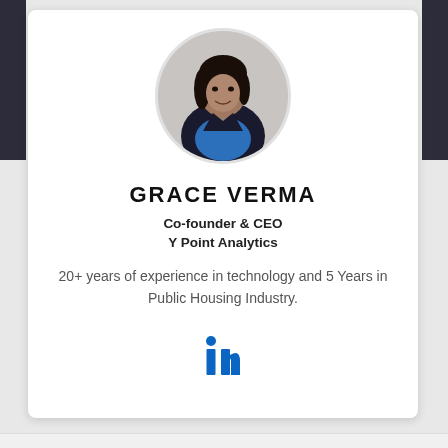[Figure (photo): Circular profile photo of Grace Verma, a woman with long dark hair wearing a black blazer and blue top with a necklace, smiling]
GRACE VERMA
Co-founder & CEO
Y Point Analytics
20+ years of experience in technology and 5 Years in Public Housing Industry.
[Figure (logo): LinkedIn 'in' logo in blue]